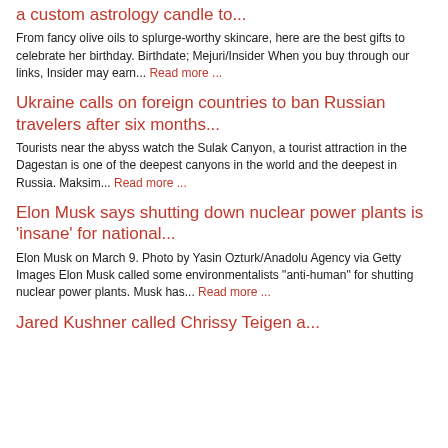a custom astrology candle to...
From fancy olive oils to splurge-worthy skincare, here are the best gifts to celebrate her birthday. Birthdate; Mejuri/Insider When you buy through our links, Insider may earn... Read more ...
Ukraine calls on foreign countries to ban Russian travelers after six months...
Tourists near the abyss watch the Sulak Canyon, a tourist attraction in the Dagestan is one of the deepest canyons in the world and the deepest in Russia. Maksim... Read more ...
Elon Musk says shutting down nuclear power plants is 'insane' for national...
Elon Musk on March 9. Photo by Yasin Ozturk/Anadolu Agency via Getty Images Elon Musk called some environmentalists "anti-human" for shutting nuclear power plants. Musk has... Read more ...
Jared Kushner called Chrissy Teigen a...